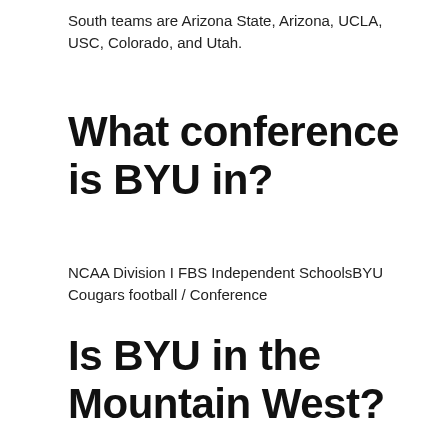South teams are Arizona State, Arizona, UCLA, USC, Colorado, and Utah.
What conference is BYU in?
NCAA Division I FBS Independent SchoolsBYU Cougars football / Conference
Is BYU in the Mountain West?